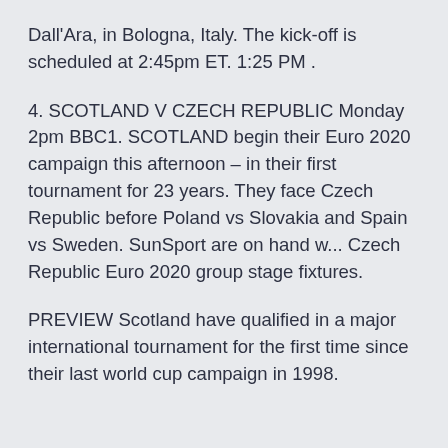Dall'Ara, in Bologna, Italy. The kick-off is scheduled at 2:45pm ET. 1:25 PM .
4. SCOTLAND V CZECH REPUBLIC Monday 2pm BBC1. SCOTLAND begin their Euro 2020 campaign this afternoon – in their first tournament for 23 years. They face Czech Republic before Poland vs Slovakia and Spain vs Sweden. SunSport are on hand w... Czech Republic Euro 2020 group stage fixtures.
PREVIEW Scotland have qualified in a major international tournament for the first time since their last world cup campaign in 1998.